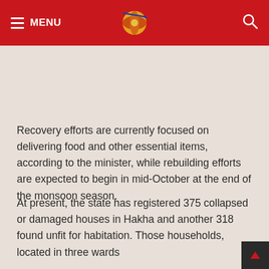MENU
Recovery efforts are currently focused on delivering food and other essential items, according to the minister, while rebuilding efforts are expected to begin in mid-October at the end of the monsoon season.
At present, the state has registered 375 collapsed or damaged houses in Hakha and another 318 found unfit for habitation. Those households, located in three wards